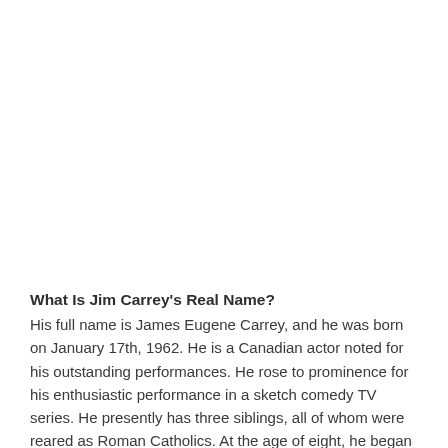What Is Jim Carrey's Real Name?
His full name is James Eugene Carrey, and he was born on January 17th, 1962. He is a Canadian actor noted for his outstanding performances. He rose to prominence for his enthusiastic performance in a sketch comedy TV series. He presently has three siblings, all of whom were reared as Roman Catholics. At the age of eight, he began creating faces in front of the mirror to choose which job